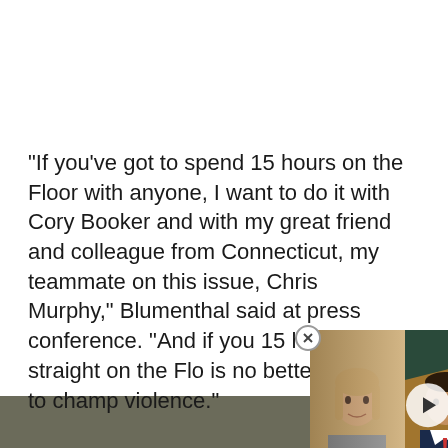“If you’ve got to spend 15 hours on the Floor with anyone, I want to do it with Cory Booker and with my great friend and colleague from Connecticut, my teammate on this issue, Chris Murphy,” Blumenthal said at press conference. “A[nd if you’re going to spend] 15 hours straight on the Flo[or, there] is no better cause to champ[ion than gun] violence.”
[Figure (screenshot): Bloomberg TV video overlay showing three people (two anchors and a guest) with a lower-third ticker reading 'US MORTGAGE MARKET SLOWING DOWN'. A play button is visible in the center. A close (X) button appears in the top-right corner of the overlay.]